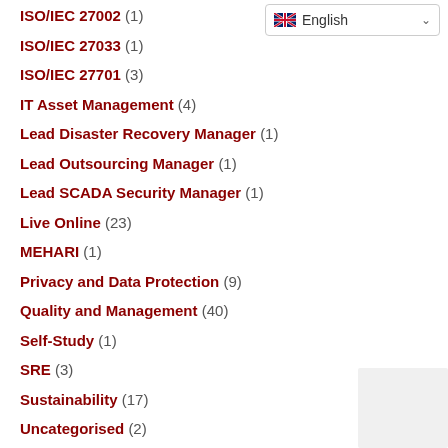ISO/IEC 27002 (1)
ISO/IEC 27033 (1)
ISO/IEC 27701 (3)
IT Asset Management (4)
Lead Disaster Recovery Manager (1)
Lead Outsourcing Manager (1)
Lead SCADA Security Manager (1)
Live Online (23)
MEHARI (1)
Privacy and Data Protection (9)
Quality and Management (40)
Self-Study (1)
SRE (3)
Sustainability (17)
Uncategorised (2)